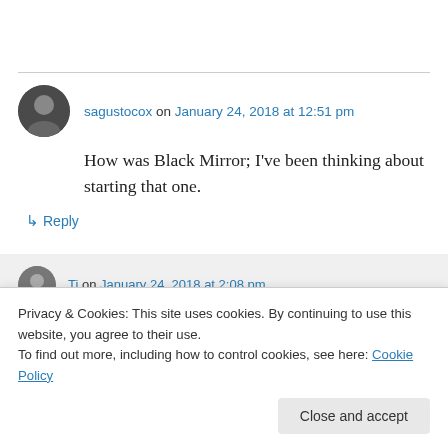sagustocox on January 24, 2018 at 12:51 pm
How was Black Mirror; I've been thinking about starting that one.
↳ Reply
Ti on January 24, 2018 at 2:08 pm
Privacy & Cookies: This site uses cookies. By continuing to use this website, you agree to their use.
To find out more, including how to control cookies, see here: Cookie Policy
Close and accept
USS Callister episode. That one wasn't